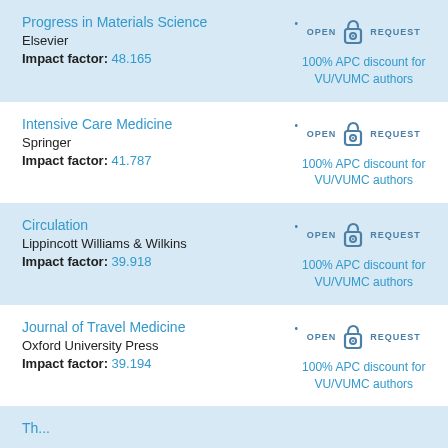Progress in Materials Science | Elsevier | Impact factor: 48.165 | 100% APC discount for VU/VUMC authors
Intensive Care Medicine | Springer | Impact factor: 41.787 | 100% APC discount for VU/VUMC authors
Circulation | Lippincott Williams & Wilkins | Impact factor: 39.918 | 100% APC discount for VU/VUMC authors
Journal of Travel Medicine | Oxford University Press | Impact factor: 39.194 | 100% APC discount for VU/VUMC authors
Partial entry (cut off at bottom)